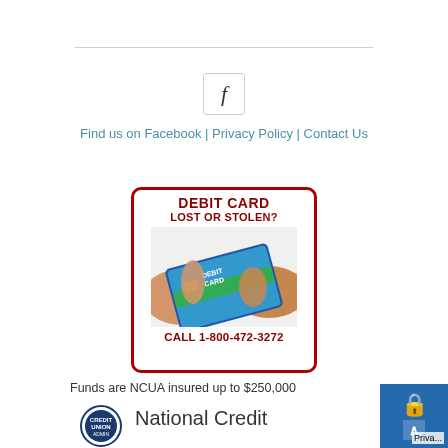[Figure (logo): Facebook icon button — lowercase italic f in a bordered square]
Find us on Facebook | Privacy Policy | Contact Us
[Figure (infographic): Debit Card Lost or Stolen? Call 1-800-472-3272 — red-bordered box with image of hands holding a debit card]
Funds are NCUA insured up to $250,000
[Figure (logo): NCUA credit union administration circular seal logo]
National Credit